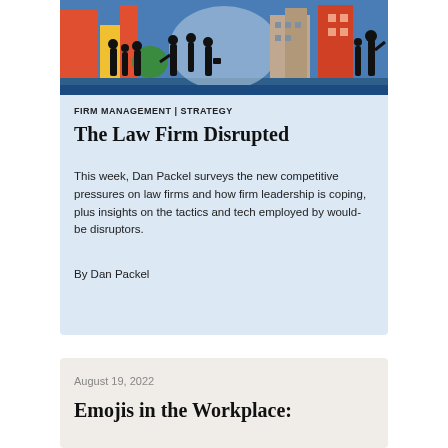[Figure (illustration): Colorful illustration of silhouetted people walking in an urban setting with buildings and abstract shapes in blue, red, yellow, green, and gray tones.]
FIRM MANAGEMENT | STRATEGY
The Law Firm Disrupted
This week, Dan Packel surveys the new competitive pressures on law firms and how firm leadership is coping, plus insights on the tactics and tech employed by would-be disruptors.
By Dan Packel
August 19, 2022
Emojis in the Workplace: